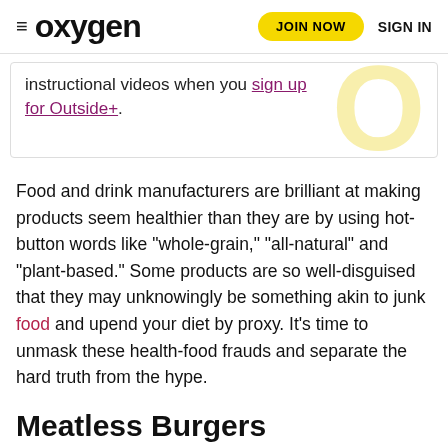oxygen | JOIN NOW | SIGN IN
instructional videos when you sign up for Outside+.
Food and drink manufacturers are brilliant at making products seem healthier than they are by using hot-button words like “whole-grain,” “all-natural” and “plant-based.” Some products are so well-disguised that they may unknowingly be something akin to junk food and upend your diet by proxy. It’s time to unmask these health-food frauds and separate the hard truth from the hype.
Meatless Burgers